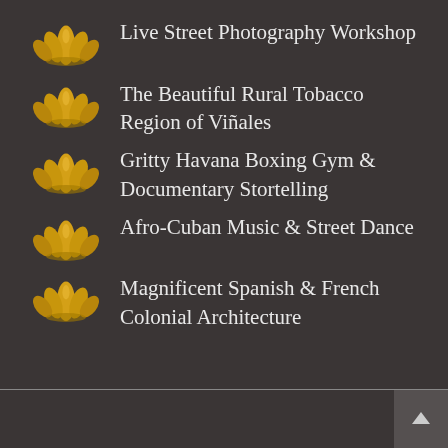Live Street Photography Workshop
The Beautiful Rural Tobacco Region of Viñales
Gritty Havana Boxing Gym & Documentary Stortelling
Afro-Cuban Music & Street Dance
Magnificent Spanish & French Colonial Architecture